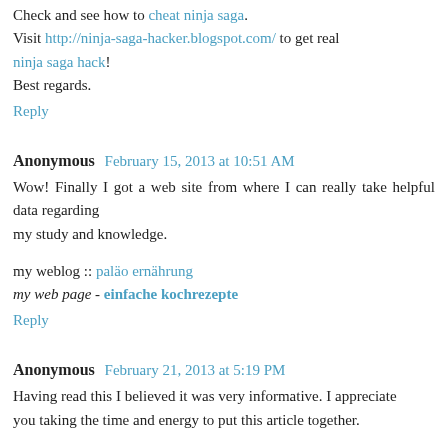Check and see how to cheat ninja saga. Visit http://ninja-saga-hacker.blogspot.com/ to get real ninja saga hack! Best regards.
Reply
Anonymous  February 15, 2013 at 10:51 AM
Wow! Finally I got a web site from where I can really take helpful data regarding my study and knowledge.
my weblog :: paläo ernährung
my web page - einfache kochrezepte
Reply
Anonymous  February 21, 2013 at 5:19 PM
Having read this I believed it was very informative. I appreciate you taking the time and energy to put this article together.